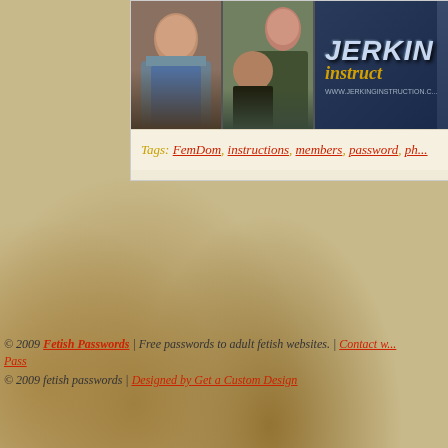[Figure (screenshot): Banner image for 'Jerking Instruction' website with two photo thumbnails of people and metallic logo text on dark blue background with URL www.jerkinginstruction.com]
Tags: FemDom, instructions, members, password, ph...
© 2009 Fetish Passwords | Free passwords to adult fetish websites. | Contact w... Pass
© 2009 fetish passwords | Designed by Get a Custom Design